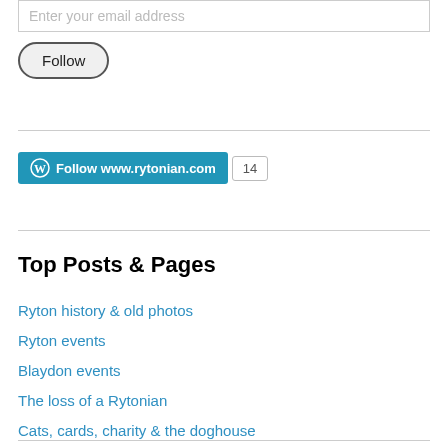Enter your email address
Follow
[Figure (other): WordPress Follow button: Follow www.rytonian.com with follower count 14]
Top Posts & Pages
Ryton history & old photos
Ryton events
Blaydon events
The loss of a Rytonian
Cats, cards, charity & the doghouse
Ryton Festival 2017
Don't hover the apostrophe